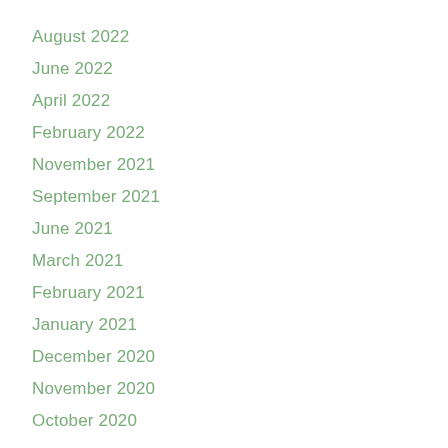August 2022
June 2022
April 2022
February 2022
November 2021
September 2021
June 2021
March 2021
February 2021
January 2021
December 2020
November 2020
October 2020